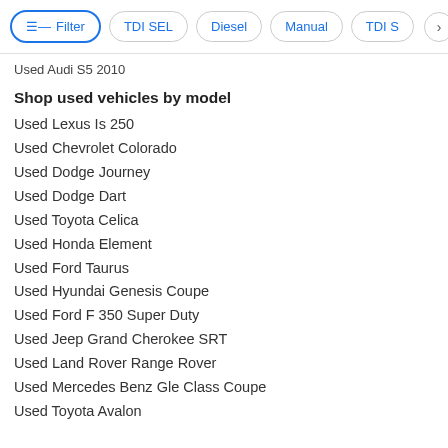Filter | TDI SEL | Diesel | Manual | TDI S >
Used Audi S5 2010
Shop used vehicles by model
Used Lexus Is 250
Used Chevrolet Colorado
Used Dodge Journey
Used Dodge Dart
Used Toyota Celica
Used Honda Element
Used Ford Taurus
Used Hyundai Genesis Coupe
Used Ford F 350 Super Duty
Used Jeep Grand Cherokee SRT
Used Land Rover Range Rover
Used Mercedes Benz Gle Class Coupe
Used Toyota Avalon